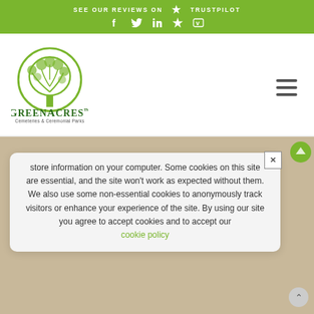SEE OUR REVIEWS ON ★ TRUSTPILOT
[Figure (logo): GreenAcres Cemeteries & Ceremonial Parks logo with green tree in circle]
store information on your computer. Some cookies on this site are essential, and the site won't work as expected without them. We also use some non-essential cookies to anonymously track visitors or enhance your experience of the site. By using our site you agree to accept cookies and to accept our cookie policy